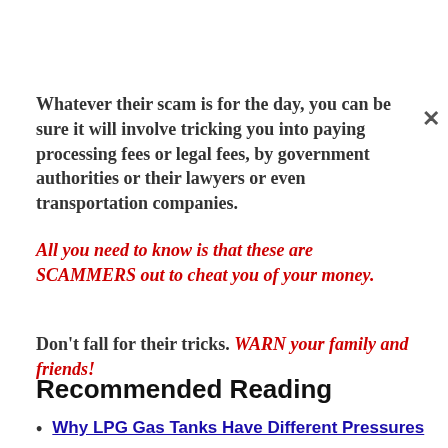Whatever their scam is for the day, you can be sure it will involve tricking you into paying processing fees or legal fees, by government authorities or their lawyers or even transportation companies.
All you need to know is that these are SCAMMERS out to cheat you of your money.
Don't fall for their tricks. WARN your family and friends!
Recommended Reading
Why LPG Gas Tanks Have Different Pressures